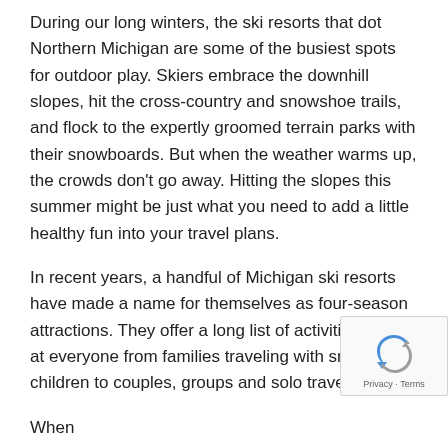During our long winters, the ski resorts that dot Northern Michigan are some of the busiest spots for outdoor play. Skiers embrace the downhill slopes, hit the cross-country and snowshoe trails, and flock to the expertly groomed terrain parks with their snowboards. But when the weather warms up, the crowds don't go away. Hitting the slopes this summer might be just what you need to add a little healthy fun into your travel plans.
In recent years, a handful of Michigan ski resorts have made a name for themselves as four-season attractions. They offer a long list of activities aimed at everyone from families traveling with small children to couples, groups and solo travelers.
When